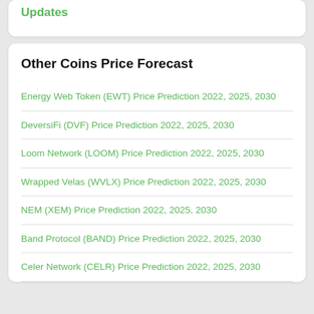Updates
Other Coins Price Forecast
Energy Web Token (EWT) Price Prediction 2022, 2025, 2030
DeversiFi (DVF) Price Prediction 2022, 2025, 2030
Loom Network (LOOM) Price Prediction 2022, 2025, 2030
Wrapped Velas (WVLX) Price Prediction 2022, 2025, 2030
NEM (XEM) Price Prediction 2022, 2025, 2030
Band Protocol (BAND) Price Prediction 2022, 2025, 2030
Celer Network (CELR) Price Prediction 2022, 2025, 2030